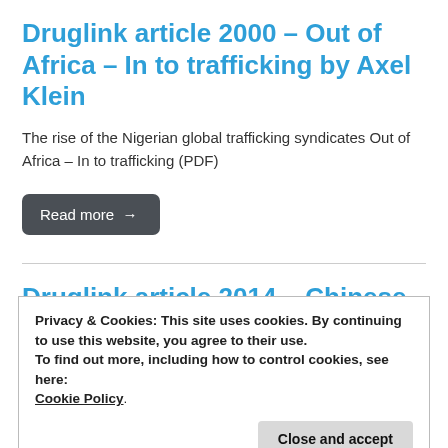Druglink article 2000 – Out of Africa – In to trafficking by Axel Klein
The rise of the Nigerian global trafficking syndicates Out of Africa – In to trafficking (PDF)
Read more →
Druglink article 2014 – Chinese
Privacy & Cookies: This site uses cookies. By continuing to use this website, you agree to their use.
To find out more, including how to control cookies, see here: Cookie Policy
Close and accept